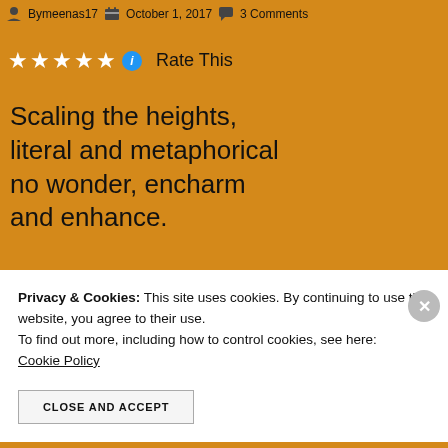Bymeenas17  October 1, 2017  3 Comments
[Figure (infographic): Five white star rating icons followed by a blue info icon]
Rate This
Scaling the heights,
literal and metaphorical
no wonder, encharm
and enhance.
Honours, excellence ,
Privacy & Cookies: This site uses cookies. By continuing to use this website, you agree to their use.
To find out more, including how to control cookies, see here:
Cookie Policy
CLOSE AND ACCEPT